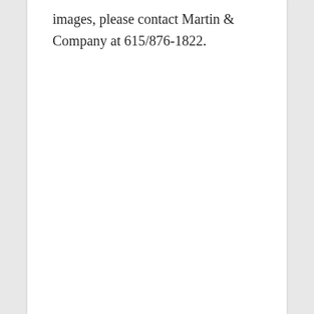images, please contact Martin & Company at 615/876-1822.